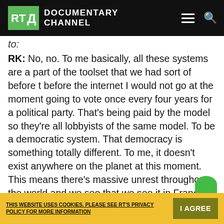RT Documentary Channel
to:
RK: No, no. To me basically, all these systems are a part of the toolset that we had sort of before t before the internet I would not go at the moment going to vote once every four years for a political party. That's being paid by the model so they're all lobbyists of the same model. To be a democratic system. That democracy is something totally different. To me, it doesn't exist anywhere on the planet at this moment. This means there's massive unrest throughout the world and we see that we see it in France we see it everywhere. People feel that they're not represented and this is logical because now we have the tools to be represented. So if I have these tools o
THIS WEBSITE USES COOKIES. PLEASE SEE RT'S PRIVACY POLICY FOR MORE INFORMATION  I AGREE